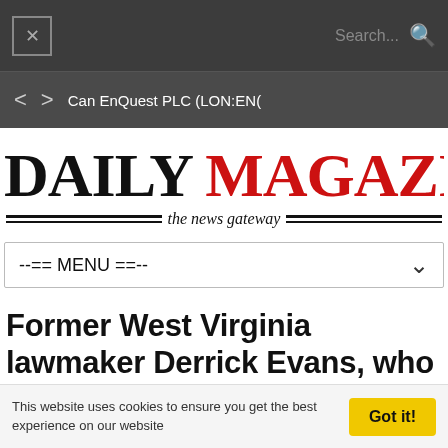Search...
Can EnQuest PLC (LON:ENQ...
DAILY MAGAZINE the news gateway
--== MENU ==--
Former West Virginia lawmaker Derrick Evans, who screamed 'Derrick Evans is in the Capitol' on January 6, is sentenced to 3 months in prison
This website uses cookies to ensure you get the best experience on our website